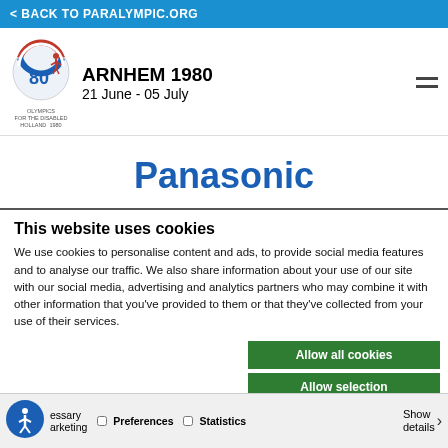< BACK TO PARALYMPIC.ORG
[Figure (logo): Arnhem 1980 Paralympics logo - circular design with figure, red/blue/white colors, text: OLYMPICS FOR THE DISABLED HOLLAND 1980]
ARNHEM 1980
21 June - 05 July
[Figure (logo): Panasonic sponsor logo in blue bold text]
This website uses cookies
We use cookies to personalise content and ads, to provide social media features and to analyse our traffic. We also share information about your use of our site with our social media, advertising and analytics partners who may combine it with other information that you've provided to them or that they've collected from your use of their services.
Allow all cookies
Allow selection
Use necessary cookie
essary   Preferences   Statistics   Show details
Marketing